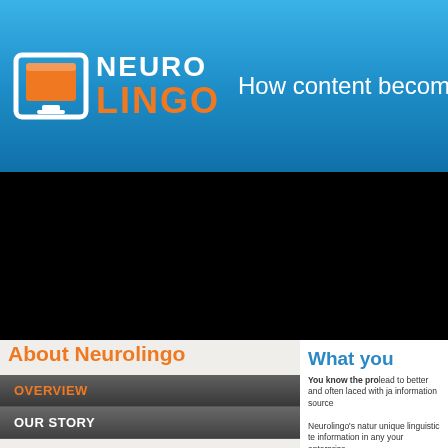[Figure (logo): Neurolingo logo with orange monitor icon and text 'NEURO LINGO' in white and orange on blue gradient header]
How content becomes
[Figure (screenshot): Black video/media player area]
About Neurolingo
OVERVIEW
OUR STORY
CLIENTS
CASE STUDIES
DEMOS
PRESS RELEASES + COVERAGE
What you
You know the pro lead to better and often laced with ja information source Neurolingo's natur unique linguistic te information in any your enterprise.